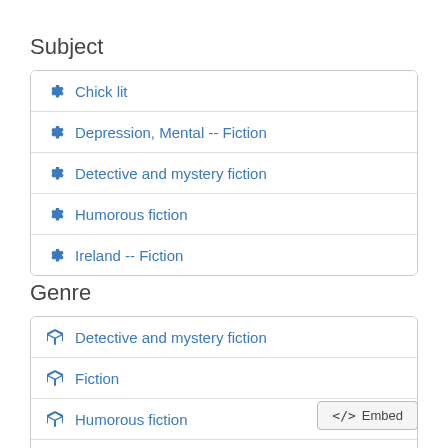Subject
Chick lit
Depression, Mental -- Fiction
Detective and mystery fiction
Humorous fiction
Ireland -- Fiction
Genre
Detective and mystery fiction
Fiction
Humorous fiction
Chick lit
</> Embed